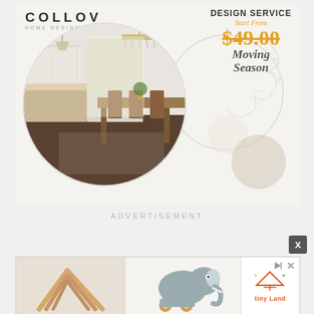[Figure (illustration): Collov Home Design advertisement banner with logo top-left, 'DESIGN SERVICE Start From $49.00 Moving Season' top-right, a circular cropped interior photo of a modern kitchen/dining room, decorative floral line drawing, and a beige circle accent on cream background]
ADVERTISEMENT
[Figure (illustration): Close button X in gray square, top right of second ad area]
[Figure (illustration): Bottom display ad showing two product images: a wooden triangle toy/arch on the left, a gray elephant toy on wheels in the middle, and Tiny Land logo on the right with play/close icons]